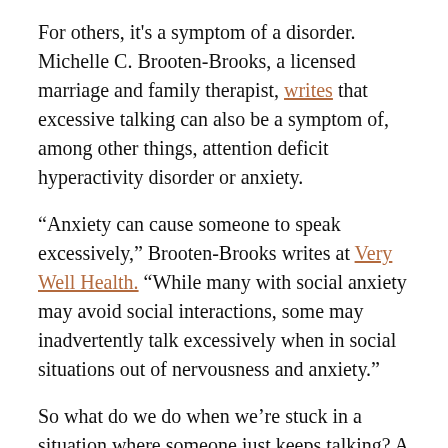For others, it's a symptom of a disorder. Michelle C. Brooten-Brooks, a licensed marriage and family therapist, writes that excessive talking can also be a symptom of, among other things, attention deficit hyperactivity disorder or anxiety.
“Anxiety can cause someone to speak excessively,” Brooten-Brooks writes at Very Well Health. “While many with social anxiety may avoid social interactions, some may inadvertently talk excessively when in social situations out of nervousness and anxiety.”
So what do we do when we’re stuck in a situation where someone just keeps talking? A Reddit user by the name of Spritti33 asked for some advice about how to “politely end a conversation with a